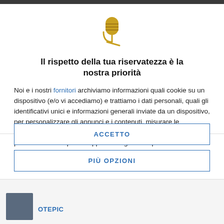[Figure (illustration): Gold microphone icon with cord]
Il rispetto della tua riservatezza è la nostra priorità
Noi e i nostri fornitori archiviamo informazioni quali cookie su un dispositivo (e/o vi accediamo) e trattiamo i dati personali, quali gli identificativi unici e informazioni generali inviate da un dispositivo, per personalizzare gli annunci e i contenuti, misurare le prestazioni di annunci e contenuti, ricavare informazioni sul pubblico e anche per sviluppare e migliorare i prodotti. Con la tua autorizzazione noi e i nostri fornitori possiamo utilizzare dati precisi di geolocalizzazione e
ACCETTO
PIÙ OPZIONI